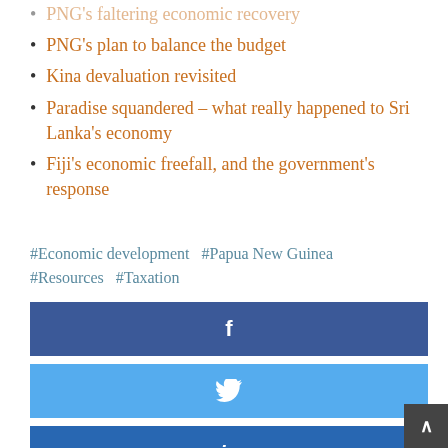PNG's faltering economic recovery
PNG's plan to balance the budget
Kina devaluation revisited
Paradise squandered – what really happened to Sri Lanka's economy
Fiji's economic freefall, and the government's response
#Economic development  #Papua New Guinea  #Resources  #Taxation
[Figure (infographic): Social share buttons: Facebook (dark blue), Twitter (light blue), LinkedIn (medium blue), WhatsApp (green). A scroll-to-top button (dark grey) appears in the bottom right corner.]